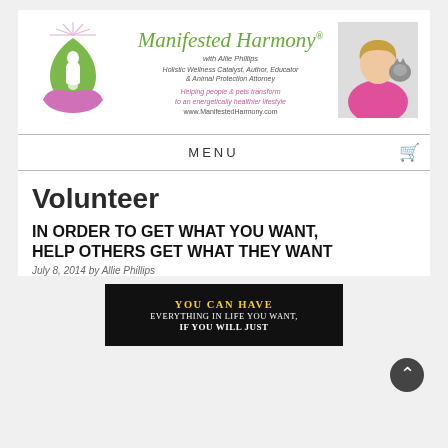[Figure (logo): Manifested Harmony logo with brand text, tagline, URL, and photo of Allie Phillips with a cat]
MENU
Volunteer
IN ORDER TO GET WHAT YOU WANT, HELP OTHERS GET WHAT THEY WANT
July 8, 2014 by Allie Phillips
[Figure (photo): Dark background image with yellow text: YOU CAN HAVE EVERYTHING IN LIFE YOU WANT, IF YOU WILL JUST...]